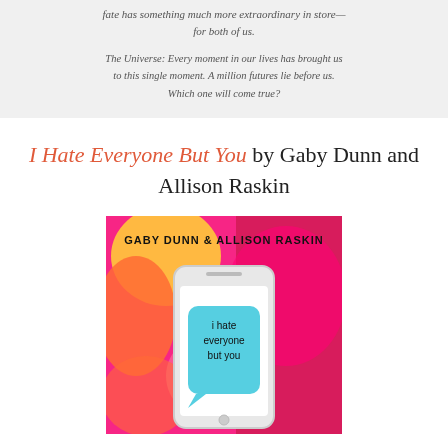fate has something much more extraordinary in store—for both of us.
The Universe: Every moment in our lives has brought us to this single moment. A million futures lie before us. Which one will come true?
I Hate Everyone But You by Gaby Dunn and Allison Raskin
[Figure (illustration): Book cover of 'I Hate Everyone But You' by Gaby Dunn & Allison Raskin. Colorful abstract background in pink, magenta, yellow, and orange. A hand-drawn white smartphone with a blue speech bubble reading 'i hate everyone but you' in black handwritten text. Authors' names 'GABY DUNN & ALLISON RASKIN' at the top in bold black text.]